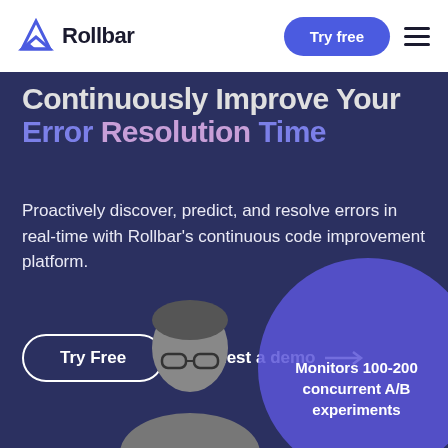Rollbar | Try free
Continuously Improve Your Error Resolution Time
Proactively discover, predict, and resolve errors in real-time with Rollbar's continuous code improvement platform.
Try Free | Request a demo →
[Figure (photo): Person wearing glasses, shown from shoulders up, greyscale photo, partially visible at bottom center of page]
Monitors 100-200 concurrent A/B experiments